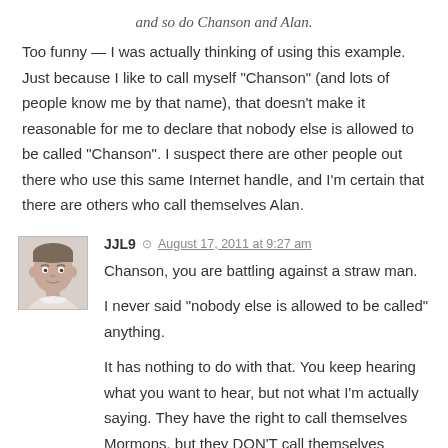and so do Chanson and Alan.
Too funny — I was actually thinking of using this example. Just because I like to call myself “Chanson” (and lots of people know me by that name), that doesn’t make it reasonable for me to declare that nobody else is allowed to be called “Chanson”. I suspect there are other people out there who use this same Internet handle, and I’m certain that there are others who call themselves Alan.
JJL9
August 17, 2011 at 9:27 am
Chanson, you are battling against a straw man.
I never said “nobody else is allowed to be called” anything.
It has nothing to do with that. You keep hearing what you want to hear, but not what I’m actually saying. They have the right to call themselves Mormons, but they DON’T call themselves Mormons, except when discussing what relation they have to the Mormons, you know, the people that are actually called